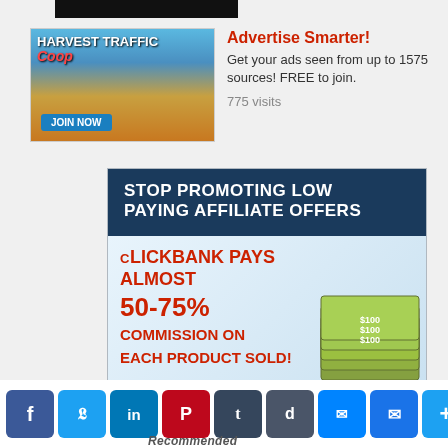[Figure (screenshot): Black top banner strip (partially visible advertisement)]
[Figure (illustration): Harvest Traffic Coop advertisement image with wheat field background, blue sky, and JOIN NOW button]
Advertise Smarter! Get your ads seen from up to 1575 sources! FREE to join. 775 visits
[Figure (illustration): ClickBank affiliate offers banner ad: STOP PROMOTING LOW PAYING AFFILIATE OFFERS. CLICKBANK PAYS ALMOST 50-75% COMMISSION ON EACH PRODUCT SOLD! All commissions goes in to your CLICKBANK account INSTANTLY! CLICK HERE button.]
[Figure (screenshot): Social media sharing icons row: Facebook, Twitter, LinkedIn, Pinterest, Tumblr, Digg, Messenger, Email, Plus, and blank. Recommended text at bottom.]